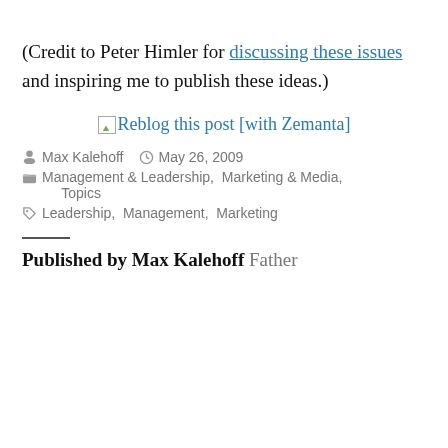(Credit to Peter Himler for discussing these issues and inspiring me to publish these ideas.)
[Figure (other): Zemanta reblog button image with text: Reblog this post [with Zemanta]]
Posted by Max Kalehoff  May 26, 2009  Categories: Management & Leadership, Marketing & Media, Topics  Tags: Leadership, Management, Marketing
Published by Max Kalehoff Father